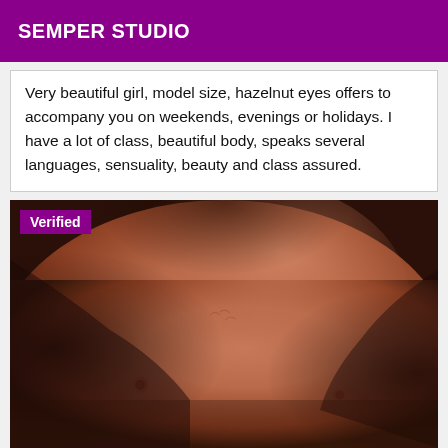SEMPER STUDIO
Very beautiful girl, model size, hazelnut eyes offers to accompany you on weekends, evenings or holidays. I have a lot of class, beautiful body, speaks several languages, sensuality, beauty and class assured.
[Figure (photo): Close-up photograph of a person's bare chest/torso with warm skin tones against a dark background. A purple 'Verified' badge is overlaid in the top-left corner.]